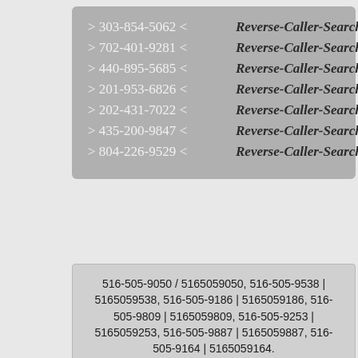> 303-854-5062 <   Reverse-Caller-Search
> 702-401-9281 <   Reverse-Caller-Search
> 440-895-5685 <   Reverse-Caller-Search
> 201-953-6826 <   Reverse-Caller-Search
> 202-431-7022 <   Reverse-Caller-Search
> 435-200-9847 <   Reverse-Caller-Search
> 804-226-9529 <   Reverse-Caller-Search
516-505-9050 / 5165059050, 516-505-9538 | 5165059538, 516-505-9186 | 5165059186, 516-505-9809 | 5165059809, 516-505-9253 | 5165059253, 516-505-9887 | 5165059887, 516-505-9164 | 5165059164.